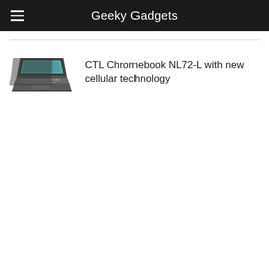Geeky Gadgets
[Figure (screenshot): Thumbnail photo of a CTL Chromebook NL72-L laptop, shown from a three-quarter angle with screen open, in dark grey color.]
CTL Chromebook NL72-L with new cellular technology